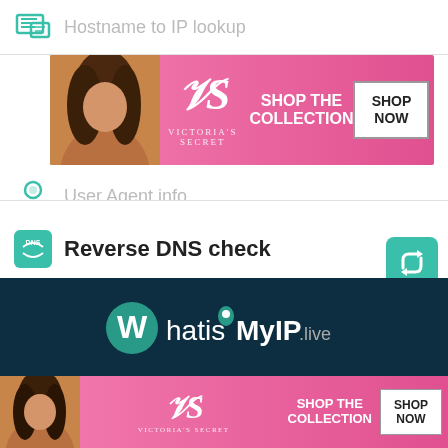Hostname to IP lookup
[Figure (photo): Victoria's Secret advertisement banner - pink background with model, VS logo, SHOP THE COLLECTION text and SHOP NOW button]
User Agent info
Reverse DNS check
[Figure (logo): WhatIsMyIP.live website logo in teal/white on dark navy background]
[Figure (infographic): Social media icons: Facebook, Google+, Pinterest, Twitter, YouTube, Instagram - teal circle outlines on dark navy background]
Privacy Policy | Terms & Conditions | C... CLOSE ...Us
[Figure (photo): Victoria's Secret advertisement banner at bottom - pink background with model, VS logo, SHOP THE COLLECTION and SHOP NOW button]